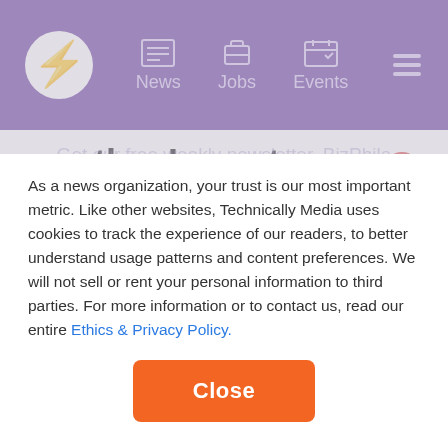News | Jobs | Events
months. Long-term nursing facilities are often the home of last resort for the elderly who can no longer remain safely in their own homes.
For the ill there is also substantial personal costs to managing COVID-19. Isolation and quarantine could mean lost pay days and an inability to pay
As a news organization, your trust is our most important metric. Like other websites, Technically Media uses cookies to track the experience of our readers, to better understand usage patterns and content preferences. We will not sell or rent your personal information to third parties. For more information or to contact us, read our entire Ethics & Privacy Policy.